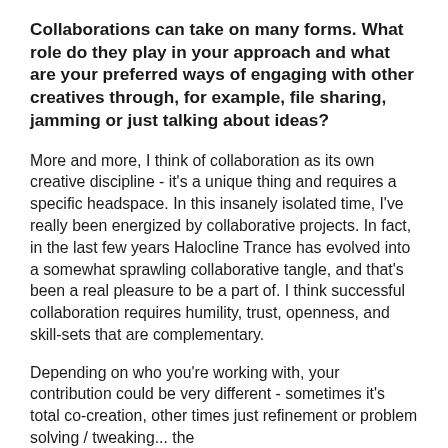Collaborations can take on many forms. What role do they play in your approach and what are your preferred ways of engaging with other creatives through, for example, file sharing, jamming or just talking about ideas?
More and more, I think of collaboration as its own creative discipline - it's a unique thing and requires a specific headspace. In this insanely isolated time, I've really been energized by collaborative projects. In fact, in the last few years Halocline Trance has evolved into a somewhat sprawling collaborative tangle, and that's been a real pleasure to be a part of. I think successful collaboration requires humility, trust, openness, and skill-sets that are complementary.
Depending on who you're working with, your contribution could be very different - sometimes it's total co-creation, other times just refinement or problem solving / tweaking... the